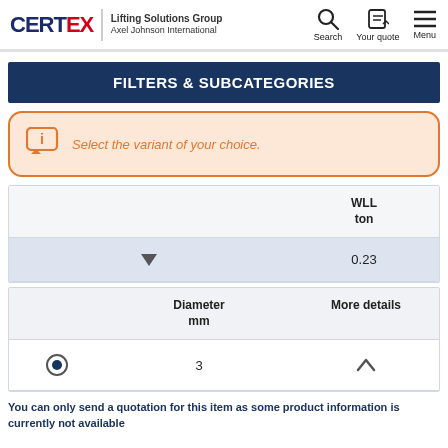[Figure (logo): CERTEX Lifting Solutions Group, Axel Johnson International logo with navigation icons (Search, Your quote, Menu)]
FILTERS & SUBCATEGORIES
Select the variant of your choice.
|  | WLL ton |
| --- | --- |
| ▼ | 0.23 |
|  | Diameter mm | More details |
| --- | --- | --- |
| ◎ | 3 | ^ |
You can only send a quotation for this item as some product information is currently not available